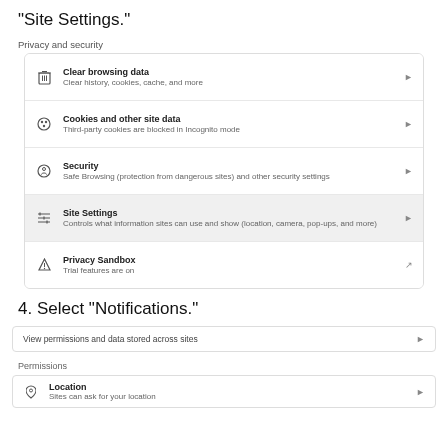"Site Settings."
Privacy and security
[Figure (screenshot): Chrome browser Privacy and security settings panel showing: Clear browsing data, Cookies and other site data, Security, Site Settings (highlighted), Privacy Sandbox menu items with icons and arrows]
4. Select "Notifications."
View permissions and data stored across sites
Permissions
Location - Sites can ask for your location